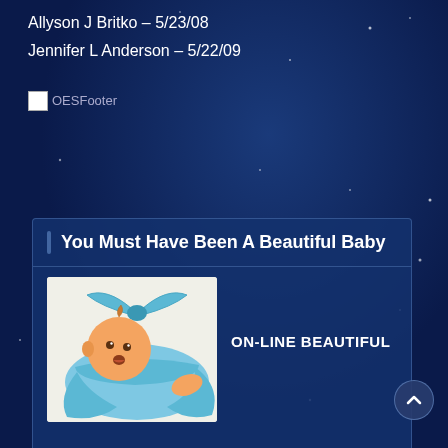Allyson J Britko – 5/23/08
Jennifer L Anderson – 5/22/09
OESFooter
You Must Have Been A Beautiful Baby
[Figure (illustration): Cartoon baby wrapped in a blue blanket/cloth with a bow, light background]
ON-LINE BEAUTIFUL
BABY CONTEST